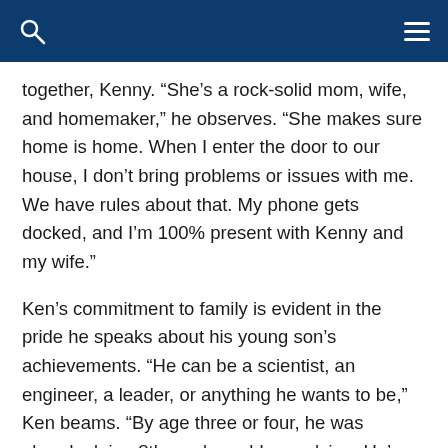together, Kenny. “She’s a rock-solid mom, wife, and homemaker,” he observes. “She makes sure home is home. When I enter the door to our house, I don’t bring problems or issues with me. We have rules about that. My phone gets docked, and I’m 100% present with Kenny and my wife.”
Ken’s commitment to family is evident in the pride he speaks about his young son’s achievements. “He can be a scientist, an engineer, a leader, or anything he wants to be,” Ken beams. “By age three or four, he was already doing 8th-grade problem-solving. He’s learning